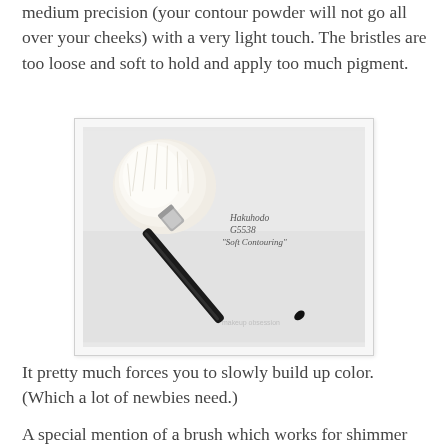medium precision (your contour powder will not go all over your cheeks) with a very light touch. The bristles are too loose and soft to hold and apply too much pigment.
[Figure (photo): A makeup brush (Hakuhodo G5538 'Soft Contouring') with a large, fluffy white rounded brush head and a long black handle with silver ferrule, photographed diagonally on a light background. Text on the photo reads: Hakuhodo G5538 'Soft Contouring']
It pretty much forces you to slowly build up color. (Which a lot of newbies need.)
A special mention of a brush which works for shimmer